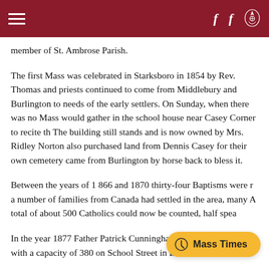Navigation header with hamburger menu, two Facebook icons, and a crest/logo icon on dark red background
member of St. Ambrose Parish.
The first Mass was celebrated in Starksboro in 1854 by Rev. Tho... and priests continued to come from Middlebury and Burlington... needs of the early settlers. On Sunday, when there was no Mass... would gather in the school house near Casey Corner to recite th... The building still stands and is now owned by Mrs. Ridley Norton... also purchased land from Dennis Casey for their own cemetery... came from Burlington by horse back to bless it.
Between the years of 1 866 and 1870 thirty-four Baptisms were r... a number of families from Canada had settled in the area, many... A total of about 500 Catholics could now be counted, half spea...
In the year 1877 Father Patrick Cunningha... y's Ambrose Church with a capacity of 380 on School Street in B...